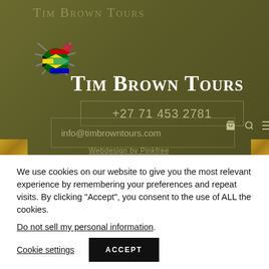[Figure (logo): Tim Brown Tours website header with logo (spider/South Africa flag graphic), brand name 'Tim Brown Tours', phone number +27 71 453 2781, email info@timbrowntours.com, shopping cart, search and menu icons on olive/khaki background]
We use cookies on our website to give you the most relevant experience by remembering your preferences and repeat visits. By clicking “Accept”, you consent to the use of ALL the cookies.
Do not sell my personal information.
Cookie settings
ACCEPT